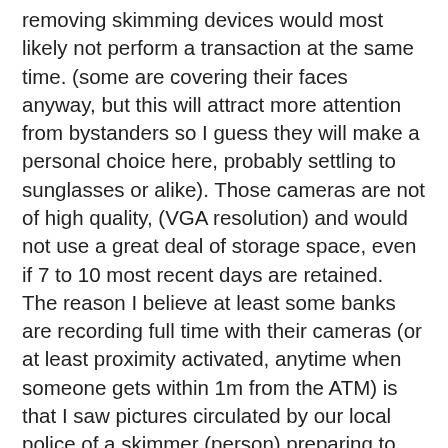removing skimming devices would most likely not perform a transaction at the same time. (some are covering their faces anyway, but this will attract more attention from bystanders so I guess they will make a personal choice here, probably settling to sunglasses or alike). Those cameras are not of high quality, (VGA resolution) and would not use a great deal of storage space, even if 7 to 10 most recent days are retained.
The reason I believe at least some banks are recording full time with their cameras (or at least proximity activated, anytime when someone gets within 1m from the ATM) is that I saw pictures circulated by our local police of a skimmer (person) preparing to install a pin overlay which were clearly made by the ATM internal camera. That person was in his early fifties (which I thought to be atypical) and was